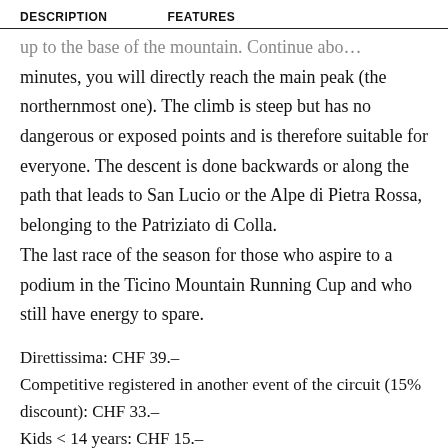DESCRIPTION    FEATURES
up to the base of the mountain. Continue about … minutes, you will directly reach the main peak (the northernmost one). The climb is steep but has no dangerous or exposed points and is therefore suitable for everyone. The descent is done backwards or along the path that leads to San Lucio or the Alpe di Pietra Rossa, belonging to the Patriziato di Colla. The last race of the season for those who aspire to a podium in the Ticino Mountain Running Cup and who still have energy to spare.
Direttissima: CHF 39.-
Competitive registered in another event of the circuit (15% discount): CHF 33.-
Kids < 14 years: CHF 15.-